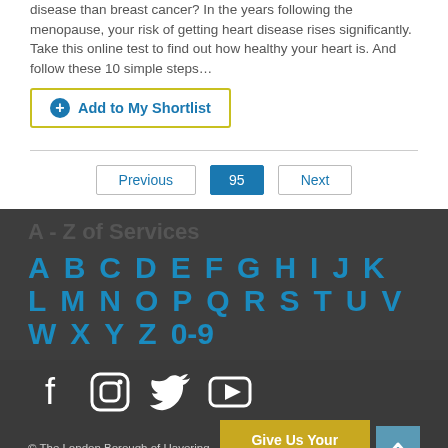disease than breast cancer? In the years following the menopause, your risk of getting heart disease rises significantly. Take this online test to find out how healthy your heart is. And follow these 10 simple steps…
➕ Add to My Shortlist
Previous  95  Next
A - Z of Services
A B C D E F G H I J K L M N O P Q R S T U V W X Y Z 0-9
[Figure (infographic): Social media icons: Facebook, Instagram, Twitter, YouTube]
© The London Borough of Havering
Give Us Your Feedback